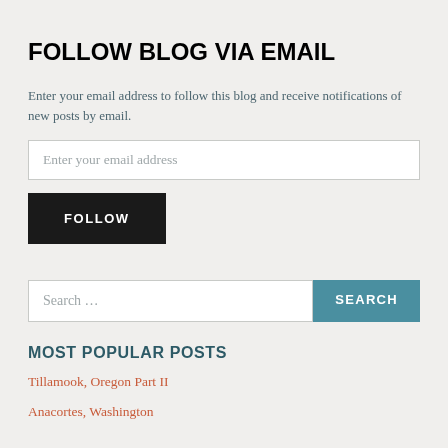FOLLOW BLOG VIA EMAIL
Enter your email address to follow this blog and receive notifications of new posts by email.
Enter your email address
FOLLOW
Search ...
SEARCH
MOST POPULAR POSTS
Tillamook, Oregon Part II
Anacortes, Washington